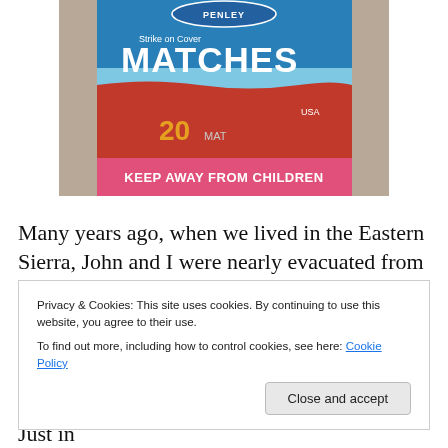[Figure (photo): Close-up photo of a Penley brand matchbox. The box is red with a blue stripe at the top. Text reads 'Strike on Cover', 'MATCHES', '20 MATCHES', 'USA', and 'KEEP AWAY FROM CHILDREN' in white letters on a pink/red band at the bottom.]
Many years ago, when we lived in the Eastern Sierra, John and I were nearly evacuated from our home.  That
Privacy & Cookies: This site uses cookies. By continuing to use this website, you agree to their use.
To find out more, including how to control cookies, see here: Cookie Policy
few essentials, those we couldn't bear to lose.  Just in